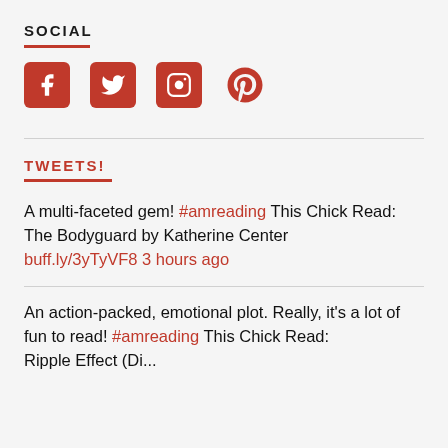SOCIAL
[Figure (infographic): Four social media icons in red: Facebook, Twitter, Instagram, Pinterest]
TWEETS!
A multi-faceted gem! #amreading This Chick Read: The Bodyguard by Katherine Center buff.ly/3yTyVF8 3 hours ago
An action-packed, emotional plot. Really, it's a lot of fun to read! #amreading This Chick Read: Ripple Effect (Di...